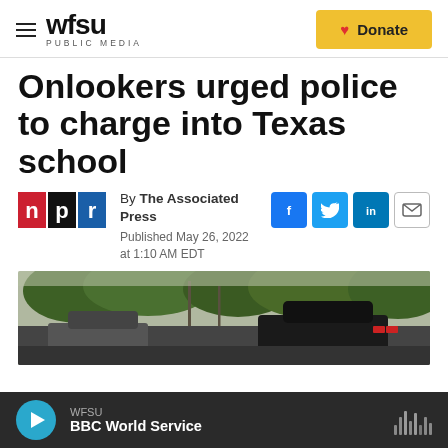WFSU PUBLIC MEDIA | Donate
Onlookers urged police to charge into Texas school
By The Associated Press
Published May 26, 2022 at 1:10 AM EDT
[Figure (photo): Photo of cars on a street with trees, related to the Texas school shooting coverage]
WFSU BBC World Service